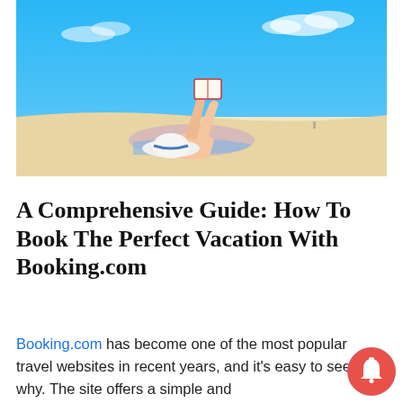[Figure (photo): Person lying on a beach reading a book, wearing a white sun hat and striped swimwear, with blue sky and sandy beach in the background.]
A Comprehensive Guide: How To Book The Perfect Vacation With Booking.com
Booking.com has become one of the most popular travel websites in recent years, and it's easy to see why. The site offers a simple and